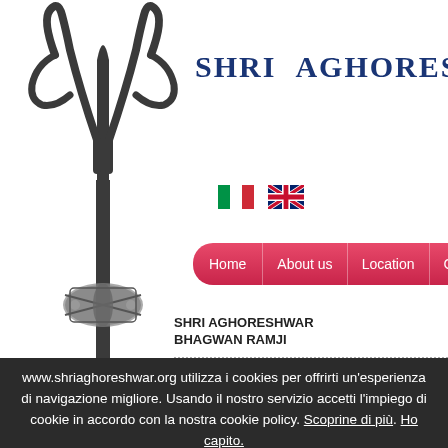[Figure (illustration): A trishul (trident) with decorative element, shown vertically against white background]
SHRI AGHORESHWA
[Figure (illustration): Italian flag (green, white, red vertical stripes)]
[Figure (illustration): UK flag (Union Jack)]
Home | About us | Location | Calendar | Events | Upd
SHRI AGHORESHWAR BHAGWAN RAMJI
Home › The characteristics of the Ab
AGHOR, AGHORI AND AUGHAR
SHRI KINA RAM BABA
www.shriaghoreshwar.org utilizza i cookies per offrirti un'esperienza di navigazione migliore. Usando il nostro servizio accetti l'impiego di cookie in accordo con la nostra cookie policy. Scoprine di più. Ho capito.